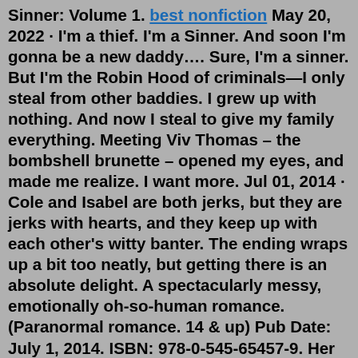Sinner: Volume 1. best nonfiction May 20, 2022 · I'm a thief. I'm a Sinner. And soon I'm gonna be a new daddy…. Sure, I'm a sinner. But I'm the Robin Hood of criminals—I only steal from other baddies. I grew up with nothing. And now I steal to give my family everything. Meeting Viv Thomas – the bombshell brunette – opened my eyes, and made me realize. I want more. Jul 01, 2014 · Cole and Isabel are both jerks, but they are jerks with hearts, and they keep up with each other's witty banter. The ending wraps up a bit too neatly, but getting there is an absolute delight. A spectacularly messy, emotionally oh-so-human romance. (Paranormal romance. 14 & up) Pub Date: July 1, 2014. ISBN: 978-0-545-65457-9. Her passion has always been writing and she sold her first book to Kensington in 2000. She has written over fifty books, won numerous awards, and now writes under her own imprint. She writes dark, intense romantic suspense and romantic comedy that will have you laughing out loud. Her motto: life should always be an adventure. Book one. Book one familiarity with...